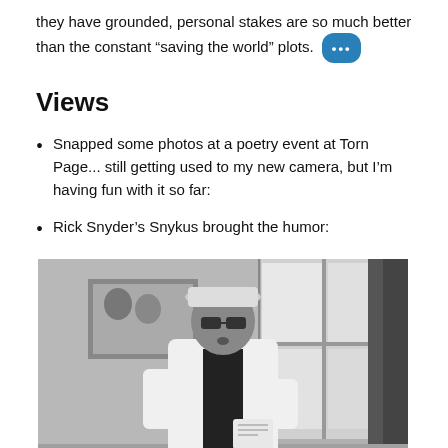they have grounded, personal stakes are so much better than the constant “saving the world” plots. •••
Views
Snapped some photos at a poetry event at Torn Page... still getting used to my new camera, but I’m having fun with it so far:
Rick Snyder’s Snykus brought the humor:
[Figure (photo): Black and white photo of an older man wearing a white jacket, hat, and sunglasses, speaking or performing at a poetry event indoors. A framed photograph is visible on the wall behind him, and a large window is to the right.]